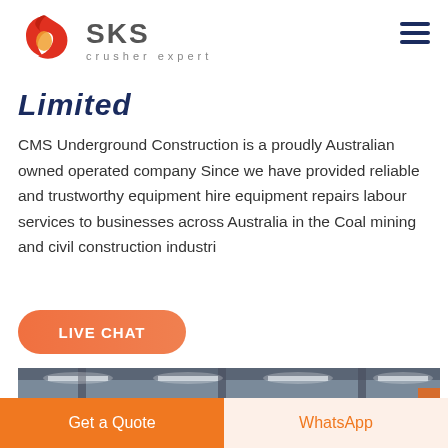[Figure (logo): SKS crusher expert logo with red swirl emblem and gray SKS text with subtitle 'crusher expert']
Limited
CMS Underground Construction is a proudly Australian owned operated company Since we have provided reliable and trustworthy equipment hire equipment repairs labour services to businesses across Australia in the Coal mining and civil construction industri
[Figure (other): Live Chat button - orange rounded pill button with white bold text LIVE CHAT]
[Figure (photo): Interior of industrial warehouse or factory with overhead lighting and structural steel]
[Figure (other): Bottom navigation bar with orange 'Get a Quote' button on left and light orange 'WhatsApp' button on right]